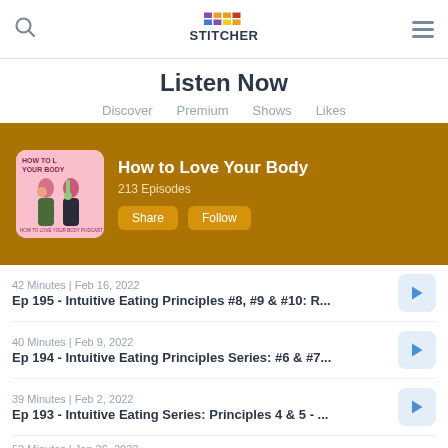Stitcher
Listen Now
Discover  Premium  Shows  Likes
[Figure (screenshot): Banner showing 'How to Love Your Body' podcast with cover art of two women, title, 213 Episodes, Share and Follow buttons on a golden-brown background]
42 Minutes | Feb 16, 2022
Ep 195 - Intuitive Eating Principles #8, #9 & #10: R...
40 Minutes | Feb 9, 2022
Ep 194 - Intuitive Eating Principles Series: #6 & #7...
39 Minutes | Feb 2, 2022
Ep 193 - Intuitive Eating Series: Principles 4 & 5 - ...
52 Minutes | Jan 26, 2022